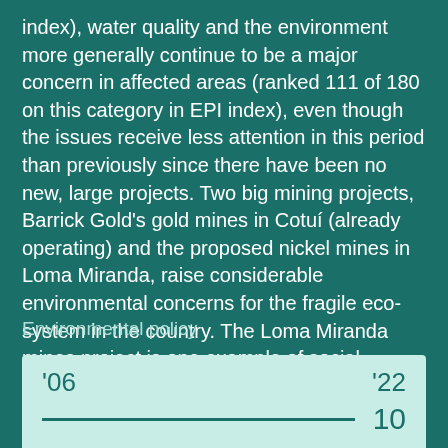index), water quality and the environment more generally continue to be a major concern in affected areas (ranked 111 of 180 on this category in EPI index), even though the issues receive less attention in this period than previously since there have been no new, large projects. Two big mining projects, Barrick Gold's gold mines in Cotuí (already operating) and the proposed nickel mines in Loma Miranda, raise considerable environmental concerns for the fragile eco-system in the country. The Loma Miranda mines project is one example of social movements expressing environmental concerns that have stopped an economically important mining project, but the administration's interest in fomenting mining will put this project on the agenda again.
Environmental policy
[Figure (other): Environmental policy timeline graphic showing year '06 on left and '22 on right, with a horizontal line and value 10 on the right]